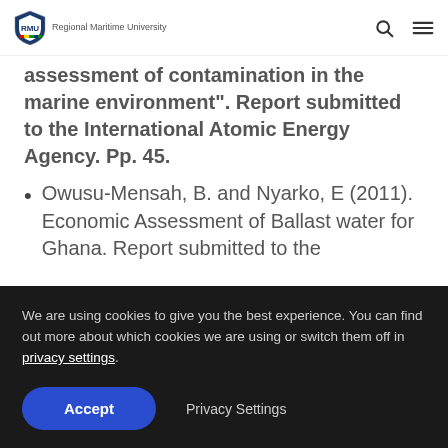Regional Maritime University
assessment of contamination in the marine environment". Report submitted to the International Atomic Energy Agency. Pp. 45.
Owusu-Mensah, B. and Nyarko, E (2011). Economic Assessment of Ballast water for Ghana. Report submitted to the
We are using cookies to give you the best experience. You can find out more about which cookies we are using or switch them off in privacy settings.
Accept   Privacy Settings